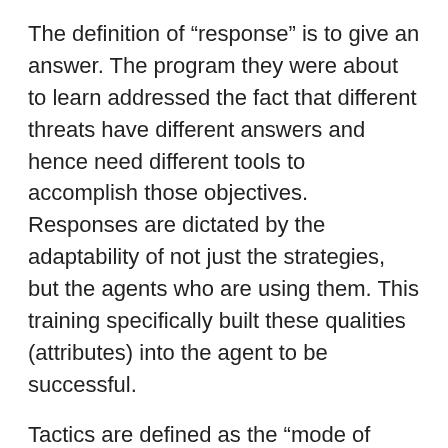The definition of “response” is to give an answer. The program they were about to learn addressed the fact that different threats have different answers and hence need different tools to accomplish those objectives. Responses are dictated by the adaptability of not just the strategies, but the agents who are using them. This training specifically built these qualities (attributes) into the agent to be successful.
Tactics are defined as the “mode of procedure for gaining an advantage”. Tactics state the end goal of defensively responding to a threat. This program was very clear and precise as to the specific steps to accomplish such goals, in addition to the steps needed to learn them.
The acronym DRT or “dart”, also gave an illustration of how this program was to be viewed. Think of a person throwing a dart, the dart itself and the target